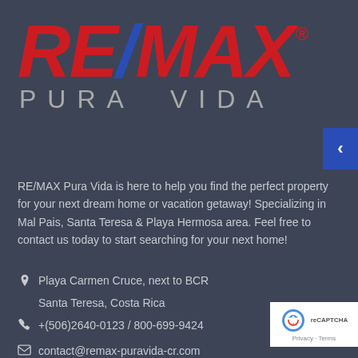[Figure (logo): RE/MAX Pura Vida logo with red RE and MAX text, blue slash, and gray PURA VIDA subtext on dark background]
RE/MAX Pura Vida is here to help you find the perfect property for your next dream home or vacation getaway! Specializing in Mal Pais, Santa Teresa & Playa Hermosa area. Feel free to contact us today to start searching for your next home!
Playa Carmen Cruce, next to BCR
Santa Teresa, Costa Rica
+(506)2640-0123 / 800-699-9424
contact@remax-puravida-cr.com